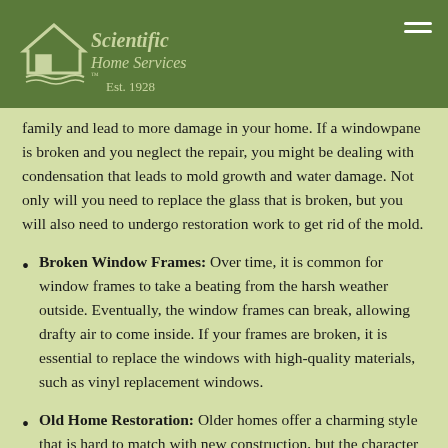Scientific Home Services Est. 1928
family and lead to more damage in your home. If a windowpane is broken and you neglect the repair, you might be dealing with condensation that leads to mold growth and water damage. Not only will you need to replace the glass that is broken, but you will also need to undergo restoration work to get rid of the mold.
Broken Window Frames: Over time, it is common for window frames to take a beating from the harsh weather outside. Eventually, the window frames can break, allowing drafty air to come inside. If your frames are broken, it is essential to replace the windows with high-quality materials, such as vinyl replacement windows.
Old Home Restoration: Older homes offer a charming style that is hard to match with new construction, but the character of the home can also have a negative impact on the quality of the property. If the windows are old, you might consider replacing them when you are working on other restoration projects. These restorations can be designed to maintain the original